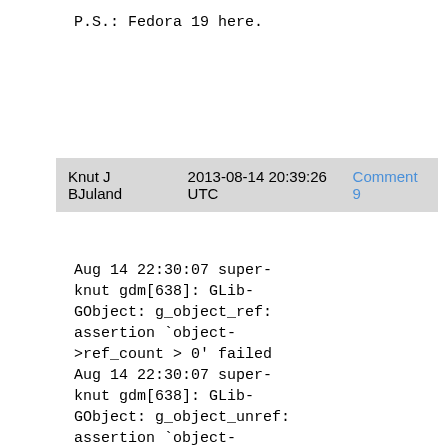P.S.: Fedora 19 here.
Knut J BJuland    2013-08-14 20:39:26 UTC    Comment 9
Aug 14 22:30:07 super-knut gdm[638]: GLib-GObject: g_object_ref: assertion `object->ref_count > 0' failed
Aug 14 22:30:07 super-knut gdm[638]: GLib-GObject: g_object_unref: assertion `object->ref_count > 0' failed
Aug 14 22:32:12 super-knut systemd[1]: Stopping GNOME Display Manager...
Aug 14 22:32:12 super-knut systemd[1]: Stopped GNOME Display Manager.
Aug 14 22:33:21 super-knut systemd[1]: Starting GNOME Display Manager...
Aug 14 22:33:21 super-